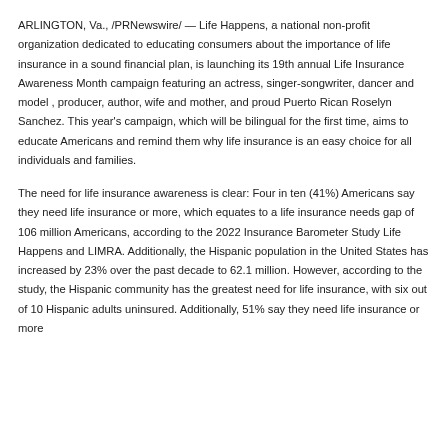ARLINGTON, Va., /PRNewswire/ — Life Happens, a national non-profit organization dedicated to educating consumers about the importance of life insurance in a sound financial plan, is launching its 19th annual Life Insurance Awareness Month campaign featuring an actress, singer-songwriter, dancer and model , producer, author, wife and mother, and proud Puerto Rican Roselyn Sanchez. This year's campaign, which will be bilingual for the first time, aims to educate Americans and remind them why life insurance is an easy choice for all individuals and families.
The need for life insurance awareness is clear: Four in ten (41%) Americans say they need life insurance or more, which equates to a life insurance needs gap of 106 million Americans, according to the 2022 Insurance Barometer Study Life Happens and LIMRA. Additionally, the Hispanic population in the United States has increased by 23% over the past decade to 62.1 million. However, according to the study, the Hispanic community has the greatest need for life insurance, with six out of 10 Hispanic adults uninsured. Additionally, 51% say they need life insurance or more